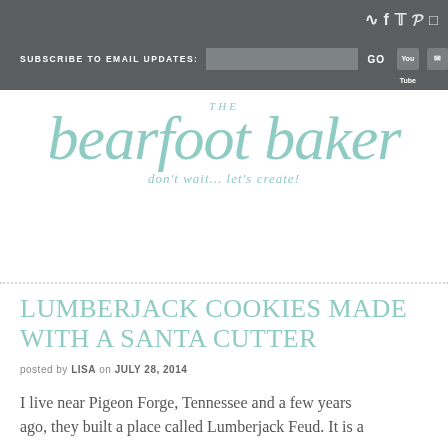SUBSCRIBE TO EMAIL UPDATES: GO
[Figure (logo): The Bearfoot Baker logo in mint/teal script with tagline 'don't wait... let's create!']
LUMBERJACK COOKIES MADE WITH A SANTA CUTTER
posted by LISA on JULY 28, 2014
I live near Pigeon Forge, Tennessee and a few years ago, they built a place called Lumberjack Feud. It is a